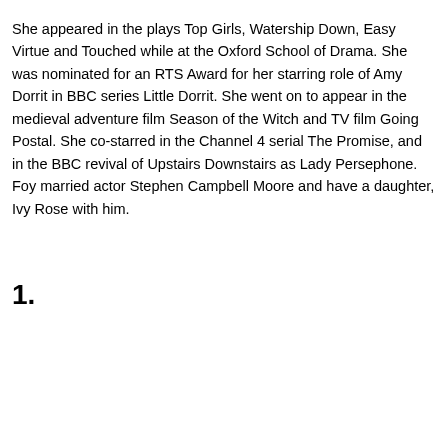She appeared in the plays Top Girls, Watership Down, Easy Virtue and Touched while at the Oxford School of Drama. She was nominated for an RTS Award for her starring role of Amy Dorrit in BBC series Little Dorrit. She went on to appear in the medieval adventure film Season of the Witch and TV film Going Postal. She co-starred in the Channel 4 serial The Promise, and in the BBC revival of Upstairs Downstairs as Lady Persephone. Foy married actor Stephen Campbell Moore and have a daughter, Ivy Rose with him.
1.